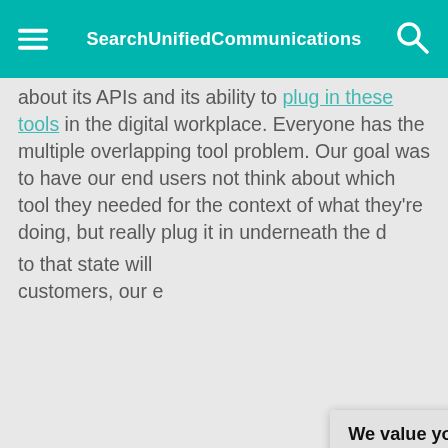SearchUnifiedCommunications
about its APIs and its ability to plug in these tools in the digital workplace. Everyone has the multiple overlapping tool problem. Our goal was to have our end users not think about which tool they needed for the context of what they're doing, but really plug it in underneath the d... to that state will ... customers, our e...
How did emplo... more flexible w...
Buschman: Ove... Net Promoter Sc... last one came in... response. We p... thrilled at first. B...
We value your privacy.
TechTarget and its partners employ cookies to improve your experience on our site, to analyze traffic and performance, and to serve personalized content and advertising that are relevant to your professional interests. You can manage your settings at any time. Please view our Privacy Policy for more information